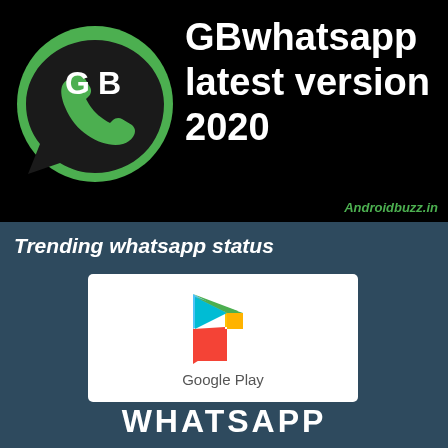[Figure (logo): GBWhatsApp logo on black banner background with large white bold text reading 'GBwhatsapp latest version 2020' and green Androidbuzz.in watermark]
[Figure (illustration): Dark blue-grey section with italic bold white text 'Trending whatsapp status', a Google Play logo card in white box, and bold white WHATSAPP text at bottom]